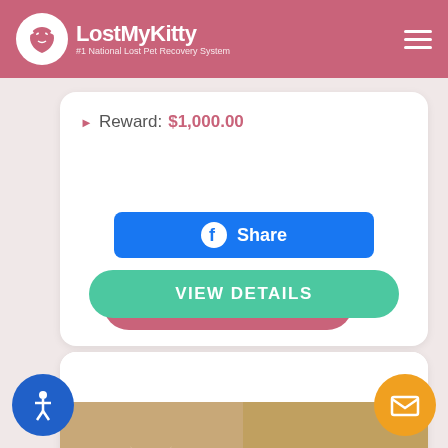LostMyKitty — #1 National Lost Pet Recovery System
Reward: $1,000.00
[Figure (screenshot): Facebook Share button (blue, rounded rectangle) with Facebook icon and text 'Share']
[Figure (screenshot): VIEW DETAILS button (teal/green, pill-shaped) with pink shadow behind it]
[Figure (photo): Photo strip showing two images of a Siamese/Ragdoll cat — left image shows cat sitting on floor, right image shows cat in a basket]
[Figure (screenshot): Blue circular accessibility icon (wheelchair user symbol) at bottom left]
[Figure (screenshot): Orange circular mail/envelope icon at bottom right]